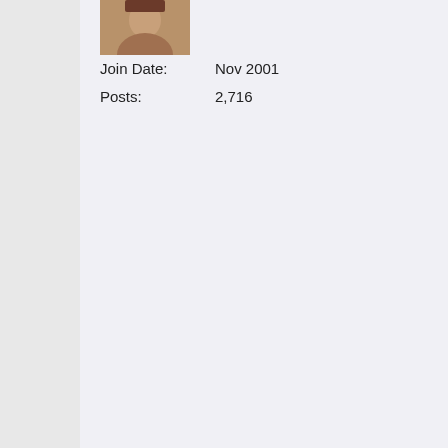[Figure (photo): User avatar photo showing a person's face]
Join Date: Nov 2001
Posts: 2,716
Software developers ma...
http://encyclopedia.thefre...
static vs. dynamic linking
Programs rarely include compact executable file. The main executable can do subroutines for it. Compilers have "libraries" your application when yo compile it.
When the compiler puts the executable file, it ts "stati linked". The code is now...
If the code is called and "dynamically linked". The libraries must be pre... program is run.
stripping
When a programmer is w compile and test the program many times compiler puts lots of useful data into the ex debugging. This stuff is...